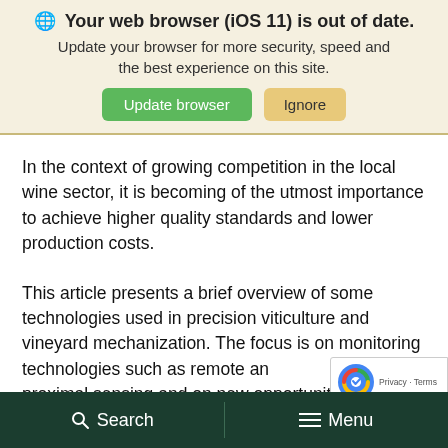[Figure (screenshot): Browser update notification banner with globe icon, bold text 'Your web browser (iOS 11) is out of date.', subtitle text, and two buttons: 'Update browser' (green) and 'Ignore' (yellow/tan)]
In the context of growing competition in the local wine sector, it is becoming of the utmost importance to achieve higher quality standards and lower production costs.
This article presents a brief overview of some technologies used in precision viticulture and vineyard mechanization. The focus is on monitoring technologies such as remote and proximal sensing and on new opportunities
Search   Menu